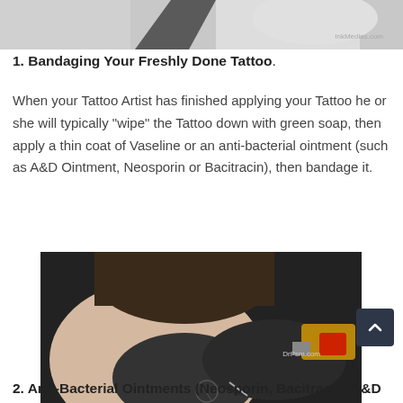[Figure (photo): Partial view of a person receiving a tattoo, cropped top portion showing tattoo artist's hands]
1. Bandaging Your Freshly Done Tattoo.
When your Tattoo Artist has finished applying your Tattoo he or she will typically "wipe" the Tattoo down with green soap, then apply a thin coat of Vaseline or an anti-bacterial ointment (such as A&D Ointment, Neosporin or Bacitracin), then bandage it.
[Figure (photo): Close-up photo of a tattoo artist wearing black gloves applying a tattoo to someone's skin using a tattoo machine]
2. Anti-Bacterial Ointments (Neosporin, Bacitracin, A&D